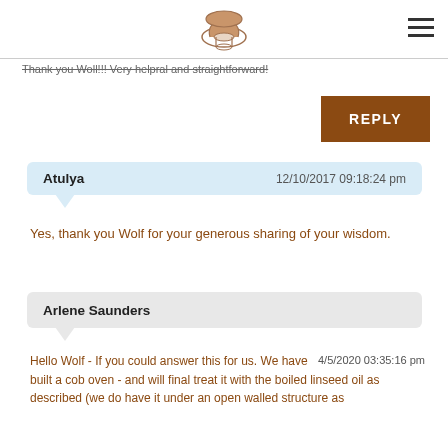[site logo and hamburger menu]
Thank you Woll!!! Very helpral and straightforward!
REPLY
Atulya   12/10/2017 09:18:24 pm
Yes, thank you Wolf for your generous sharing of your wisdom.
Arlene Saunders
Hello Wolf - If you could answer this for us. We have built a cob oven - and will final treat it with the boiled linseed oil as described (we do have it under an open walled structure as   4/5/2020 03:35:16 pm